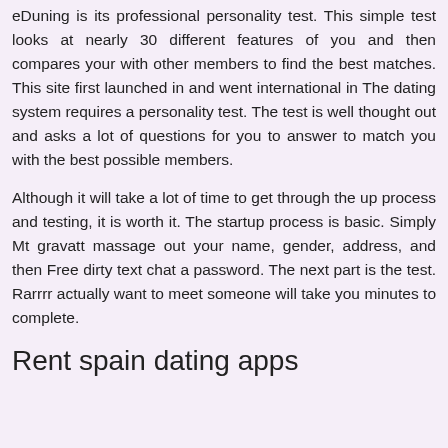eDuning is its professional personality test. This simple test looks at nearly 30 different features of you and then compares your with other members to find the best matches. This site first launched in and went international in The dating system requires a personality test. The test is well thought out and asks a lot of questions for you to answer to match you with the best possible members.
Although it will take a lot of time to get through the up process and testing, it is worth it. The startup process is basic. Simply Mt gravatt massage out your name, gender, address, and then Free dirty text chat a password. The next part is the test. Rarrrr actually want to meet someone will take you minutes to complete.
Rent spain dating apps